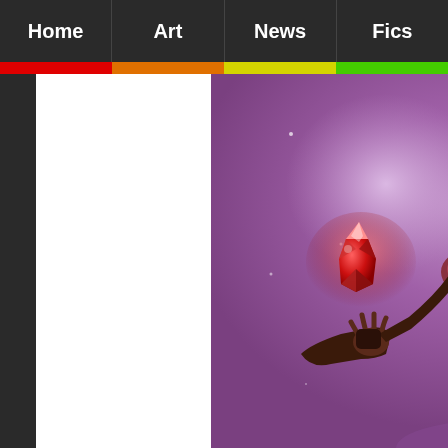Home | Art | News | Fics
[Figure (illustration): Digital illustration of a female superhero character in a purple/violet background. She has long dark hair, a red visor/mask over her eyes, and wears a dark costume with puffed burgundy shoulders, a yellow star sash/belt, and dark gloves. She is holding up a glowing red crystal/gem in one hand. Sparkles and a glowing orb appear in the background.]